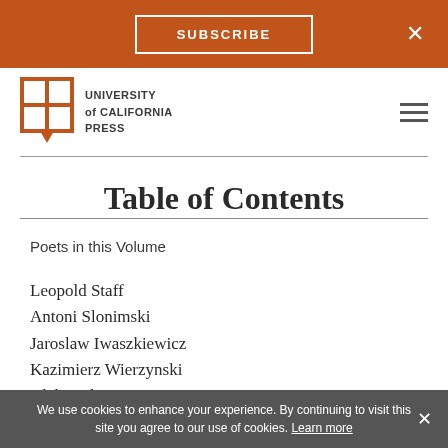SUBSCRIBE
[Figure (logo): University of California Press logo with book icon]
Table of Contents
Poets in this Volume
Leopold Staff
Antoni Slonimski
Jaroslaw Iwaszkiewicz
Kazimierz Wierzynski
Aleksander Wat
Julian Przybos
Mieczyslaw Jastrun
We use cookies to enhance your experience. By continuing to visit this site you agree to our use of cookies. Learn more